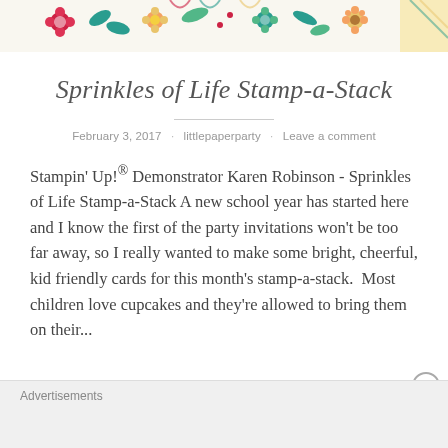[Figure (illustration): Decorative floral banner with colorful flowers, leaves, and pattern elements in red, teal, yellow, and green on a light background]
Sprinkles of Life Stamp-a-Stack
February 3, 2017 · littlepaperparty · Leave a comment
Stampin' Up!® Demonstrator Karen Robinson - Sprinkles of Life Stamp-a-Stack A new school year has started here and I know the first of the party invitations won't be too far away, so I really wanted to make some bright, cheerful, kid friendly cards for this month's stamp-a-stack.  Most children love cupcakes and they're allowed to bring them on their...
Advertisements